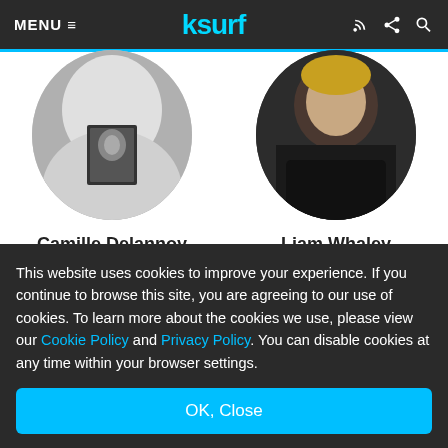MENU ≡  ksurf  [rss] [share] [search]
[Figure (photo): Circular avatar photo of Camille Delannoy, black and white, with small photo inset]
Camille Delannoy
👍 3,535
[Figure (photo): Circular avatar photo of Liam Whaley, wearing black clothing, dark photo]
Liam Whaley
Spain
👍 23,490
This website uses cookies to improve your experience. If you continue to browse this site, you are agreeing to our use of cookies. To learn more about the cookies we use, please view our Cookie Policy and Privacy Policy. You can disable cookies at any time within your browser settings.
OK, Close